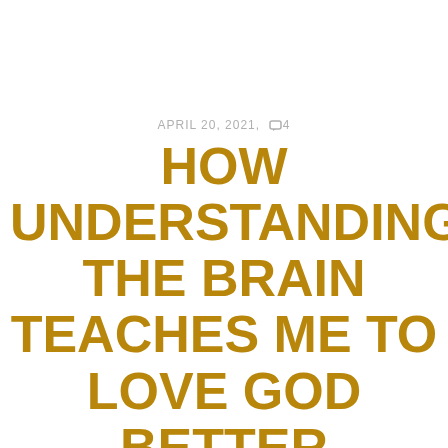APRIL 20, 2021, ☐4
HOW UNDERSTANDING THE BRAIN TEACHES ME TO LOVE GOD BETTER
Want to play a game of “never have I ever?” Here goes. Never